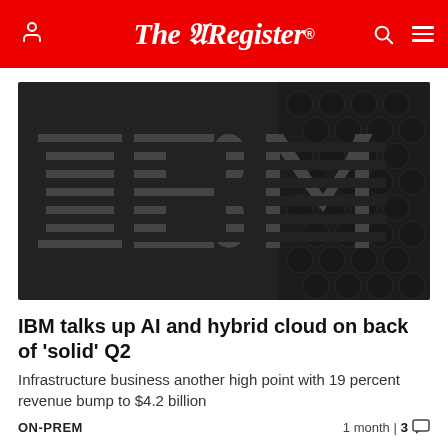The Register
[Figure (photo): Close-up photograph of an IBM logo badge with horizontal stripe styling on a dark metal surface with hexagonal ventilation holes]
IBM talks up AI and hybrid cloud on back of 'solid' Q2
Infrastructure business another high point with 19 percent revenue bump to $4.2 billion
ON-PREM   1 month | 3